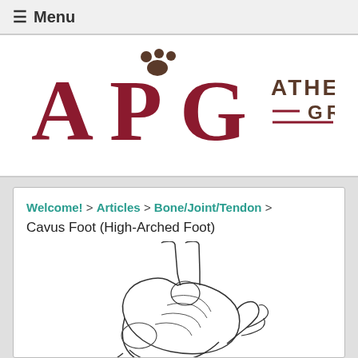≡ Menu
[Figure (logo): Athens Podiatry Group logo with APG letters in dark red serif font and paw print dots above, with ATHENS PODIATRY GROUP text in brown on the right]
Welcome! > Articles > Bone/Joint/Tendon > Cavus Foot (High-Arched Foot)
[Figure (illustration): Pencil sketch illustration of a side-view anatomical drawing of a high-arched (cavus) foot showing bones and structure]